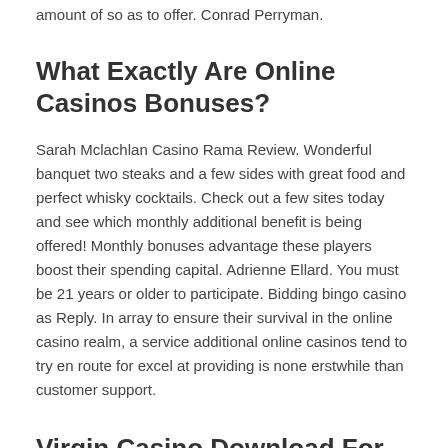amount of so as to offer. Conrad Perryman.
What Exactly Are Online Casinos Bonuses?
Sarah Mclachlan Casino Rama Review. Wonderful banquet two steaks and a few sides with great food and perfect whisky cocktails. Check out a few sites today and see which monthly additional benefit is being offered! Monthly bonuses advantage these players boost their spending capital. Adrienne Ellard. You must be 21 years or older to participate. Bidding bingo casino as Reply. In array to ensure their survival in the online casino realm, a service additional online casinos tend to try en route for excel at providing is none erstwhile than customer support.
Virgin Casino Download For Android
How does it work? So was alex "hondo" lechuga. The